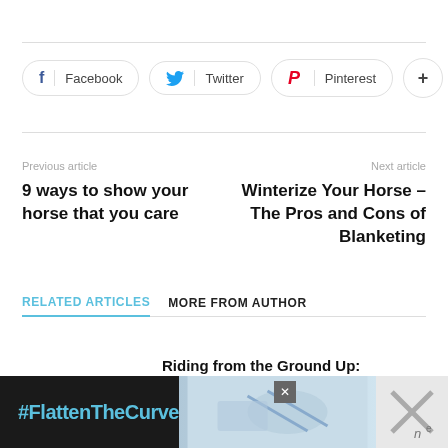Facebook | Twitter | Pinterest | +
Previous article
9 ways to show your horse that you care
Next article
Winterize Your Horse – The Pros and Cons of Blanketing
RELATED ARTICLES   MORE FROM AUTHOR
Riding from the Ground Up: Respecting Our Sport
#FlattenTheCurve